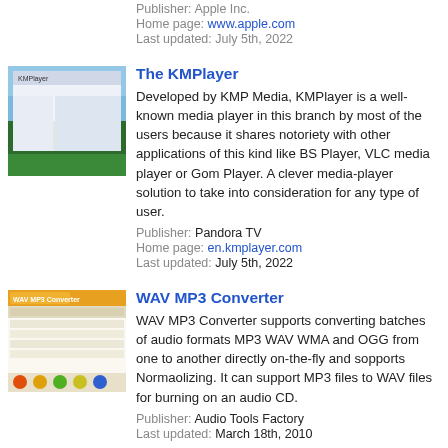Publisher: Apple Inc.
Home page: www.apple.com
Last updated: July 5th, 2022
[Figure (screenshot): Screenshot of KMPlayer application window showing media player interface with Windows XP wallpaper.]
The KMPlayer
Developed by KMP Media, KMPlayer is a well-known media player in this branch by most of the users because it shares notoriety with other applications of this kind like BS Player, VLC media player or Gom Player. A clever media-player solution to take into consideration for any type of user.
Publisher: Pandora TV
Home page: en.kmplayer.com
Last updated: July 5th, 2022
[Figure (screenshot): Screenshot of WAV MP3 Converter application window with orange toolbar.]
WAV MP3 Converter
WAV MP3 Converter supports converting batches of audio formats MP3 WAV WMA and OGG from one to another directly on-the-fly and sopports Normaolizing. It can support MP3 files to WAV files for burning on an audio CD.
Publisher: Audio Tools Factory
Last updated: March 18th, 2010
[Figure (screenshot): Screenshot of Xilisoft Video Converter Ultimate application.]
Xilisoft Video Converter Ultimate